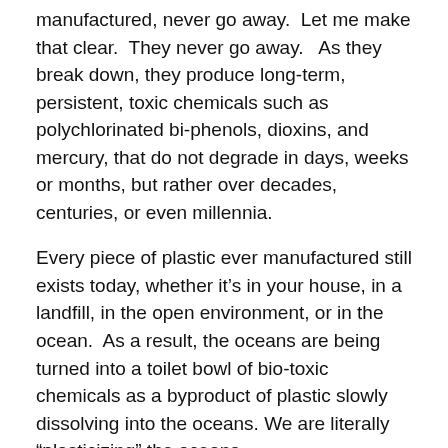manufactured, never go away.  Let me make that clear.  They never go away.   As they break down, they produce long-term, persistent, toxic chemicals such as polychlorinated bi-phenols, dioxins, and mercury, that do not degrade in days, weeks or months, but rather over decades, centuries, or even millennia.
Every piece of plastic ever manufactured still exists today, whether it’s in your house, in a landfill, in the open environment, or in the ocean.  As a result, the oceans are being turned into a toilet bowl of bio-toxic chemicals as a byproduct of plastic slowly dissolving into the oceans. We are literally “plasticizing” the oceans.
In 1997, oceanographer and racing boat Captain Charles More, made a startling and tragic discovery while returning to California from Hawaii. What he discovered was a